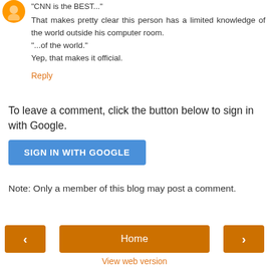"CNN is the BEST..."
That makes pretty clear this person has a limited knowledge of the world outside his computer room.
"...of the world."
Yep, that makes it official.
Reply
To leave a comment, click the button below to sign in with Google.
SIGN IN WITH GOOGLE
Note: Only a member of this blog may post a comment.
< (previous) | Home | > (next)
View web version
Powered by Blogger.